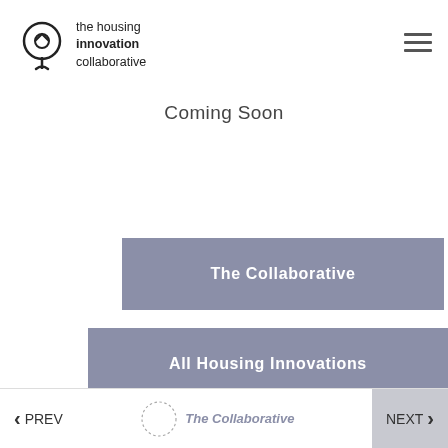the housing innovation collaborative
Coming Soon
The Collaborative
All Housing Innovations
PREV | The Collaborative | NEXT